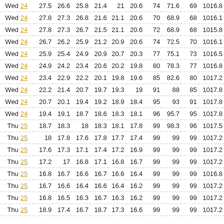| Day | Date | C1 | C2 | C3 | C4 | C5 | C6 | C7 | C8 | C9 | C10 |
| --- | --- | --- | --- | --- | --- | --- | --- | --- | --- | --- | --- |
| Wed | 24 | 27.5 | 26.6 | 25.8 | 21.4 | 21 | 20.6 | 74 | 71.6 | 69 | 1016.8 |
| Wed | 24 | 27.8 | 27.3 | 26.8 | 21.6 | 21.1 | 20.6 | 70 | 68.9 | 68 | 1016.1 |
| Wed | 24 | 27.8 | 27.3 | 26.7 | 21.5 | 21.1 | 20.6 | 72 | 68.9 | 68 | 1015.8 |
| Wed | 24 | 26.7 | 26.2 | 25.9 | 21.2 | 20.9 | 20.6 | 74 | 72.5 | 70 | 1016.1 |
| Wed | 24 | 25.9 | 25.4 | 24.9 | 20.9 | 20.7 | 20.3 | 77 | 75.1 | 73 | 1016.5 |
| Wed | 24 | 24.9 | 24.2 | 23.4 | 20.6 | 20.2 | 19.8 | 80 | 78.3 | 77 | 1016.8 |
| Wed | 24 | 23.4 | 22.9 | 22.2 | 20.1 | 19.8 | 19.6 | 85 | 82.6 | 80 | 1017.2 |
| Wed | 24 | 22.2 | 21.4 | 20.7 | 19.7 | 19.3 | 19 | 91 | 88 | 85 | 1017.8 |
| Wed | 24 | 20.7 | 20.1 | 19.4 | 19.2 | 18.9 | 18.4 | 95 | 93 | 91 | 1017.8 |
| Wed | 24 | 19.4 | 19.1 | 18.7 | 18.6 | 18.3 | 18.1 | 96 | 95.7 | 95 | 1017.8 |
| Thu | 25 | 18.7 | 18.3 | 18 | 18.3 | 18.1 | 17.8 | 99 | 98.3 | 96 | 1017.5 |
| Thu | 25 | 18 | 17.8 | 17.6 | 17.8 | 17.7 | 17.4 | 99 | 99 | 99 | 1017.2 |
| Thu | 25 | 17.6 | 17.3 | 17.1 | 17.4 | 17.2 | 16.9 | 99 | 99 | 99 | 1017.2 |
| Thu | 25 | 17.2 | 17 | 16.8 | 17.1 | 16.8 | 16.7 | 99 | 99 | 99 | 1017.2 |
| Thu | 25 | 16.8 | 16.7 | 16.6 | 16.7 | 16.6 | 16.4 | 99 | 99 | 99 | 1016.8 |
| Thu | 25 | 16.7 | 16.6 | 16.4 | 16.6 | 16.4 | 16.2 | 99 | 99 | 99 | 1017.2 |
| Thu | 25 | 16.8 | 16.5 | 16.3 | 16.7 | 16.3 | 16.2 | 99 | 99 | 99 | 1017.2 |
| Thu | 25 | 18.9 | 17.4 | 16.7 | 18.7 | 17.3 | 16.6 | 99 | 99 | 99 | 1017.2 |